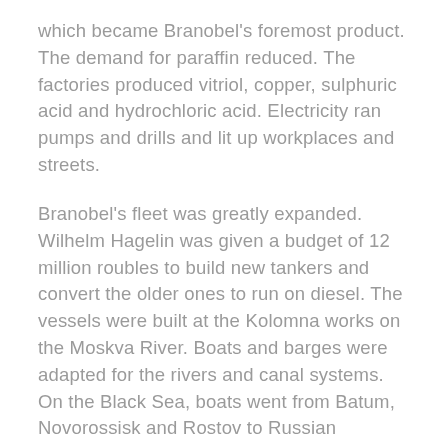which became Branobel's foremost product. The demand for paraffin reduced. The factories produced vitriol, copper, sulphuric acid and hydrochloric acid. Electricity ran pumps and drills and lit up workplaces and streets.
Branobel's fleet was greatly expanded. Wilhelm Hagelin was given a budget of 12 million roubles to build new tankers and convert the older ones to run on diesel. The vessels were built at the Kolomna works on the Moskva River. Boats and barges were adapted for the rivers and canal systems. On the Black Sea, boats went from Batum, Novorossisk and Rostov to Russian harbours. Via the Caspian Sea, paraffin was carried into Russia and on to Europe. Paraffin was transported away in the direction of Vladivostok and China, as far as Shanghai, by